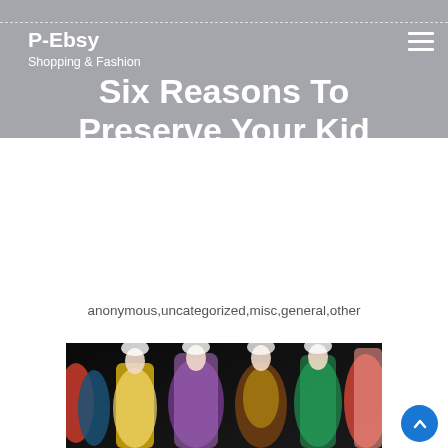P-Ebsy
Shopping & Fashion
Six Reasons To Preserve Your Kid Fashionable
anonymous,uncategorized,misc,general,other
[Figure (photo): Multiple fashion mannequins wearing elaborate colorful gowns on a dark background — gowns in yellow, purple/mauve, brown/gold, green, and pink/coral colors with decorative embellishments]